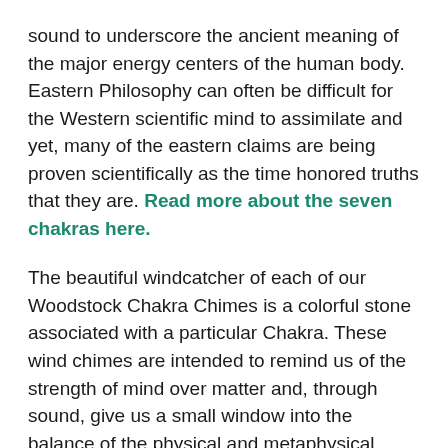sound to underscore the ancient meaning of the major energy centers of the human body. Eastern Philosophy can often be difficult for the Western scientific mind to assimilate and yet, many of the eastern claims are being proven scientifically as the time honored truths that they are. Read more about the seven chakras here.
The beautiful windcatcher of each of our Woodstock Chakra Chimes is a colorful stone associated with a particular Chakra. These wind chimes are intended to remind us of the strength of mind over matter and, through sound, give us a small window into the balance of the physical and metaphysical.